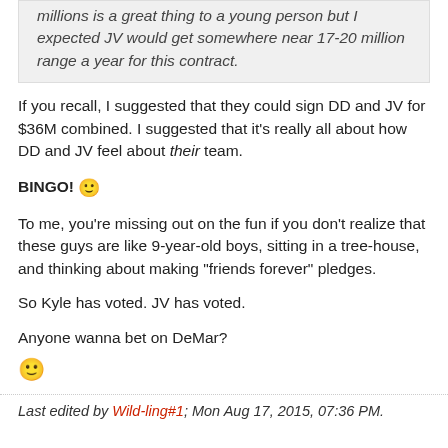millions is a great thing to a young person but I expected JV would get somewhere near 17-20 million range a year for this contract.
If you recall, I suggested that they could sign DD and JV for $36M combined. I suggested that it's really all about how DD and JV feel about their team.
BINGO! 🙂
To me, you're missing out on the fun if you don't realize that these guys are like 9-year-old boys, sitting in a tree-house, and thinking about making "friends forever" pledges.
So Kyle has voted. JV has voted.
Anyone wanna bet on DeMar?
🙂
Last edited by Wild-ling#1; Mon Aug 17, 2015, 07:36 PM.